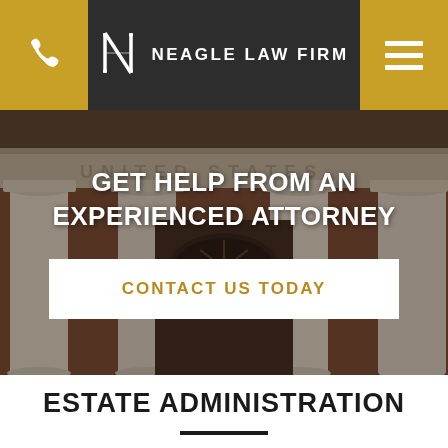Neagle Law Firm
[Figure (photo): Exterior of a courthouse or law building with white classical columns and brick facade, used as hero background image]
GET HELP FROM AN EXPERIENCED ATTORNEY
CONTACT US TODAY
ESTATE ADMINISTRATION